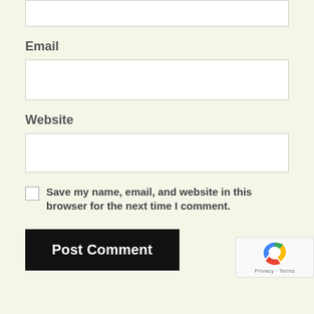[Figure (screenshot): Partial input field at top of page (cropped)]
Email
[Figure (screenshot): Email input text box]
Website
[Figure (screenshot): Website input text box]
Save my name, email, and website in this browser for the next time I comment.
[Figure (screenshot): Post Comment button and reCAPTCHA badge]